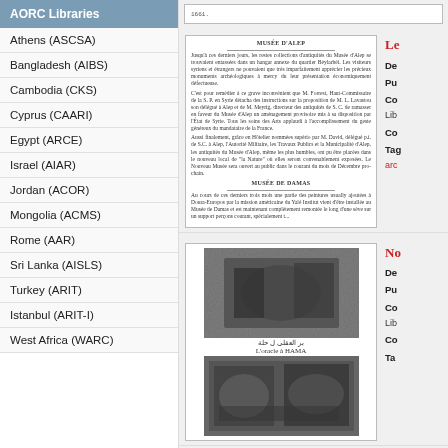AORC Libraries
Athens (ASCSA)
Bangladesh (AIBS)
Cambodia (CKS)
Cyprus (CAARI)
Egypt (ARCE)
Israel (AIAR)
Jordan (ACOR)
Mongolia (ACMS)
Rome (AAR)
Sri Lanka (AISLS)
Turkey (ARIT)
Istanbul (ARIT-I)
West Africa (WARC)
[Figure (screenshot): Truncated document record at top of content area]
[Figure (screenshot): Scanned French-language document page with sections MUSÉE D'ALEP and MUSÉE DE DAMAS]
Le...
De...
Pu...
Co... Lib...
Co...
Tag... arc...
[Figure (photo): Black and white photograph of L'oracle à HAMA]
L'oracle à HAMA
[Figure (photo): Second black and white photograph below caption]
No...
De...
Pu...
Co... Lib...
Co...
Ta...